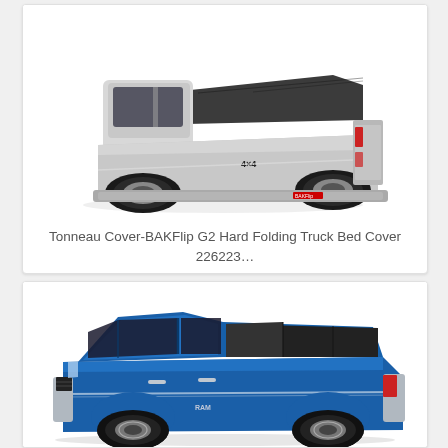[Figure (photo): Silver pickup truck (Ford F-150 4x4) viewed from rear-quarter angle with black BAKFlip G2 hard folding tonneau cover on the truck bed]
Tonneau Cover-BAKFlip G2 Hard Folding Truck Bed Cover 226223…
[Figure (photo): Blue Ram 1500 pickup truck viewed from the side with a black tonneau cover partially open on the truck bed]